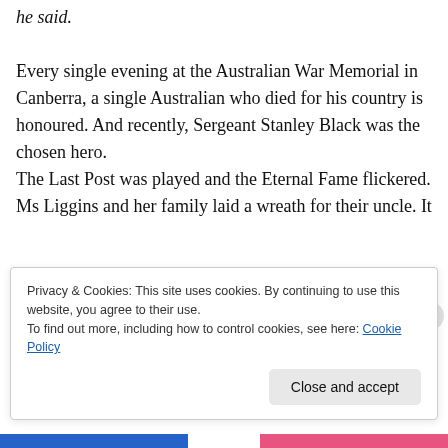he said.
Every single evening at the Australian War Memorial in Canberra, a single Australian who died for his country is honoured. And recently, Sergeant Stanley Black was the chosen hero.
The Last Post was played and the Eternal Fame flickered. Ms Liggins and her family laid a wreath for their uncle. It
Privacy & Cookies: This site uses cookies. By continuing to use this website, you agree to their use.
To find out more, including how to control cookies, see here: Cookie Policy
Close and accept